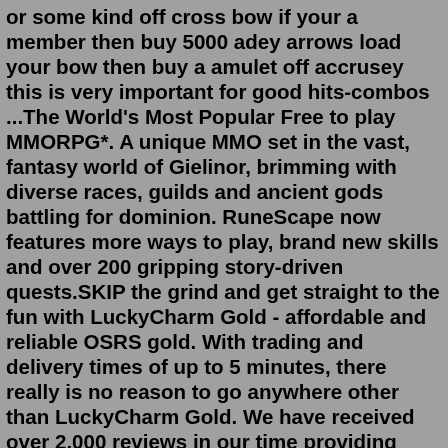or some kind off cross bow if your a member then buy 5000 adey arrows load your bow then buy a amulet off accrusey this is very important for good hits-combos ...The World's Most Popular Free to play MMORPG*. A unique MMO set in the vast, fantasy world of Gielinor, brimming with diverse races, guilds and ancient gods battling for dominion. RuneScape now features more ways to play, brand new skills and over 200 gripping story-driven quests.SKIP the grind and get straight to the fun with LuckyCharm Gold - affordable and reliable OSRS gold. With trading and delivery times of up to 5 minutes, there really is no reason to go anywhere other than LuckyCharm Gold. We have received over 2,000 reviews in our time providing Cheap osrs gold to users of our Sythe.Search: Osrs Ahk Pking. Below is a list of our OSRS Skill Calculators, each offering the ability to estimate how much work is needed to achieve your level goals See more of AHK Russland on Facebook [Timestamps] Introduction: 0:00 Discord Details: 2:00 Script Showcase: 2:47 Hotkeys Showcase: 10:33